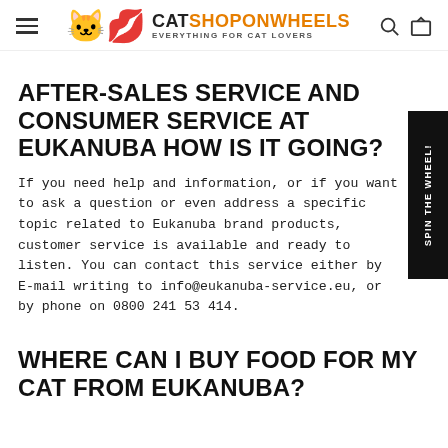CATSHOPONWHEELS — EVERYTHING FOR CAT LOVERS
AFTER-SALES SERVICE AND CONSUMER SERVICE AT EUKANUBA HOW IS IT GOING?
If you need help and information, or if you want to ask a question or even address a specific topic related to Eukanuba brand products, customer service is available and ready to listen. You can contact this service either by E-mail writing to info@eukanuba-service.eu, or by phone on 0800 241 53 414.
WHERE CAN I BUY FOOD FOR MY CAT FROM EUKANUBA?